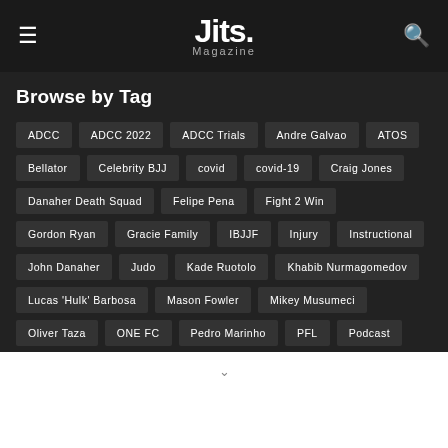Jits. Magazine
Browse by Tag
ADCC
ADCC 2022
ADCC Trials
Andre Galvao
ATOS
Bellator
Celebrity BJJ
covid
covid-19
Craig Jones
Danaher Death Squad
Felipe Pena
Fight 2 Win
Gordon Ryan
Gracie Family
IBJJF
Injury
Instructional
John Danaher
Judo
Kade Ruotolo
Khabib Nurmagomedov
Lucas 'Hulk' Barbosa
Mason Fowler
Mikey Musumeci
Oliver Taza
ONE FC
Pedro Marinho
PFL
Podcast